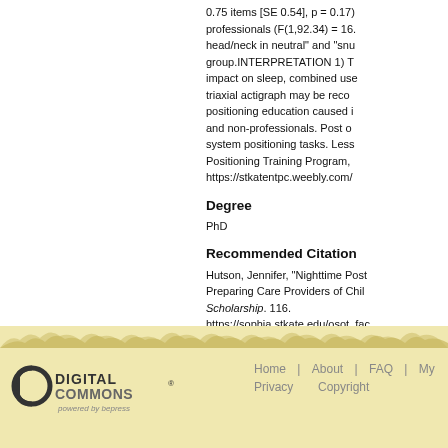0.75 items [SE 0.54], p = 0.17), professionals (F(1,92.34) = 16... head/neck in neutral" and "snu... group.INTERPRETATION 1) T... impact on sleep, combined use... triaxial actigraph may be recom... positioning education caused i... and non-professionals. Post o... system positioning tasks. Less... Positioning Training Program, ... https://stkatentpc.weebly.com/
Degree
PhD
Recommended Citation
Hutson, Jennifer, "Nighttime Post... Preparing Care Providers of Chil... Scholarship. 116. https://sophia.stkate.edu/osot_fac...
[Figure (logo): Digital Commons powered by bepress logo]
Home | About | FAQ | My ... Privacy Copyright